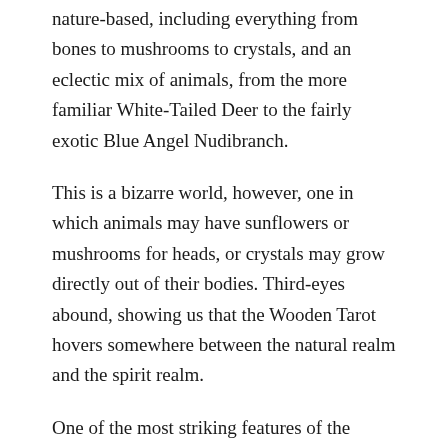nature-based, including everything from bones to mushrooms to crystals, and an eclectic mix of animals, from the more familiar White-Tailed Deer to the fairly exotic Blue Angel Nudibranch.
This is a bizarre world, however, one in which animals may have sunflowers or mushrooms for heads, or crystals may grow directly out of their bodies. Third-eyes abound, showing us that the Wooden Tarot hovers somewhere between the natural realm and the spirit realm.
One of the most striking features of the Wooden Tarot, however, is that it does not include any sort of booklet of card meanings. At the time I purchased the deck, Swartz stated on his Etsy page that any book of Rider-Waite-Smith meanings could be used alongside the deck. Many people, however, have found the deck's visual simplicity, its wide range of plants and animals, and its severe